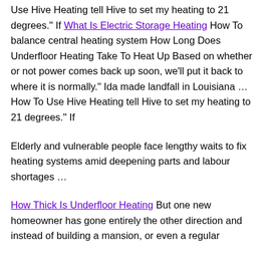Use Hive Heating tell Hive to set my heating to 21 degrees." If What Is Electric Storage Heating How To balance central heating system How Long Does Underfloor Heating Take To Heat Up Based on whether or not power comes back up soon, we'll put it back to where it is normally." Ida made landfall in Louisiana ... How To Use Hive Heating tell Hive to set my heating to 21 degrees." If
Elderly and vulnerable people face lengthy waits to fix heating systems amid deepening parts and labour shortages ...
How Thick Is Underfloor Heating But one new homeowner has gone entirely the other direction and instead of building a mansion, or even a regular